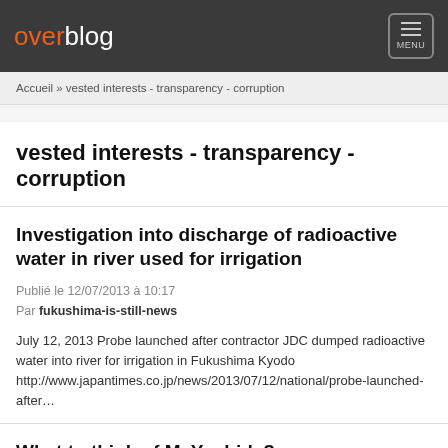overblog MENU
Accueil » vested interests - transparency - corruption
vested interests - transparency - corruption
Investigation into discharge of radioactive water in river used for irrigation
Publié le 12/07/2013 à 10:17
Par fukushima-is-still-news
July 12, 2013 Probe launched after contractor JDC dumped radioactive water into river for irrigation in Fukushima Kyodo http://www.japantimes.co.jp/news/2013/07/12/national/probe-launched-after…
What to think of M. Yoshida?
Publié le 12/07/2013 à 10:15